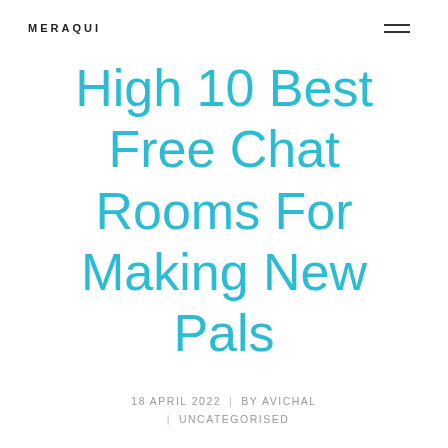MERAQUI
High 10 Best Free Chat Rooms For Making New Pals
18 APRIL 2022  |  BY AVICHAL  |  UNCATEGORISED
Sign up choice is straightforward and